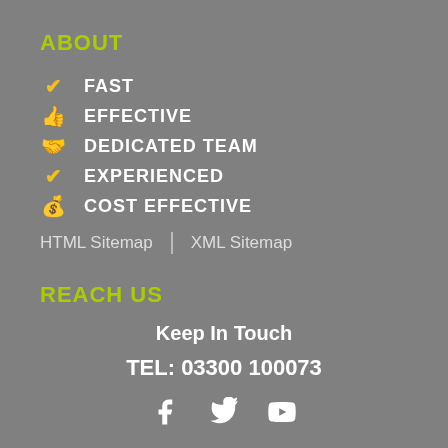ABOUT
✔ FAST
👍 EFFECTIVE
🤝 DEDICATED TEAM
✔ EXPERIENCED
💰 COST EFFECTIVE
HTML Sitemap | XML Sitemap
REACH US
Keep In Touch
TEL: 03300 100073
[Figure (illustration): Social media icons: Facebook, Twitter, YouTube]